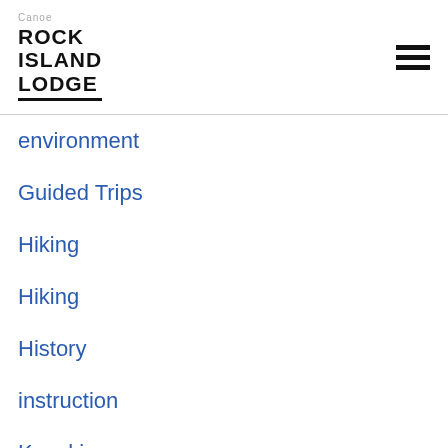Canoe
ROCK
ISLAND
LODGE
environment
Guided Trips
Hiking
Hiking
History
instruction
Kayaking
Lake Superior